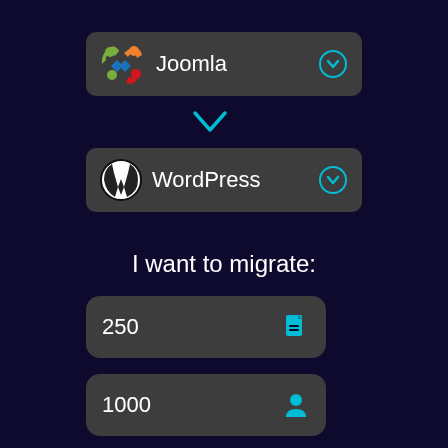[Figure (screenshot): Joomla CMS logo - colorful abstract figure icon in red, green, orange]
Joomla
[Figure (screenshot): Chevron down circle icon in cyan/blue]
[Figure (screenshot): Cyan chevron/arrow pointing downward]
[Figure (screenshot): WordPress logo - W in circle, black and white]
WordPress
[Figure (screenshot): Chevron down circle icon in cyan/blue]
I want to migrate:
250
[Figure (screenshot): Cyan document/page icon]
1000
[Figure (screenshot): Cyan person/user icon]
1000
[Figure (screenshot): Cyan chat/message icon]